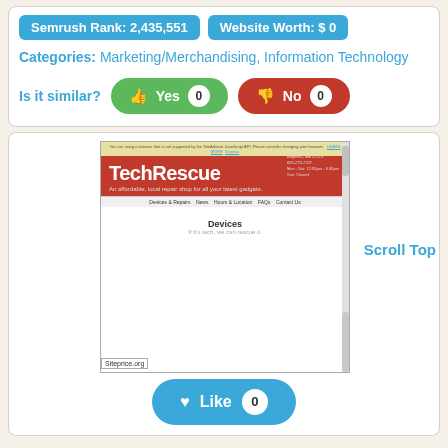Semrush Rank: 2,435,551
Website Worth: $ 0
Categories: Marketing/Merchandising, Information Technology
Is it similar?  Yes 0  No 0
[Figure (screenshot): Screenshot of TechRescue website showing red header with site name, tagline 'An affordable, local repair shop for all your latest gadgets.', navigation bar, and Devices section below.]
Scroll Top
Siteprice.org
Like 0